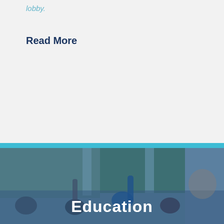lobby.
Read More
[Figure (photo): Classroom scene with children raising hands at their desks and a teacher standing at the front near a green chalkboard. Blue teal overlay tint covers the image.]
Education